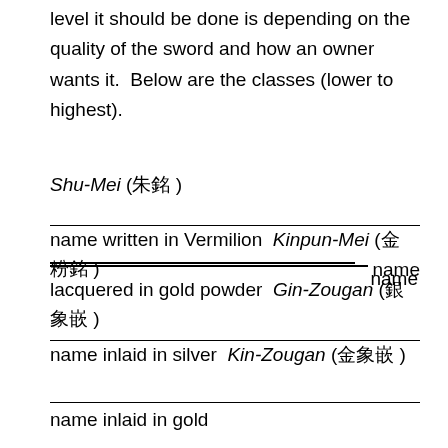level it should be done is depending on the quality of the sword and how an owner wants it.  Below are the classes (lower to highest).
Shu-Mei (朱銘) — name written in Vermilion  Kinpun-Mei (金粉銘) — name lacquered in gold powder  Gin-Zougan (銀象嵌) — name inlaid in silver  Kin-Zougan (金象嵌) — name inlaid in gold